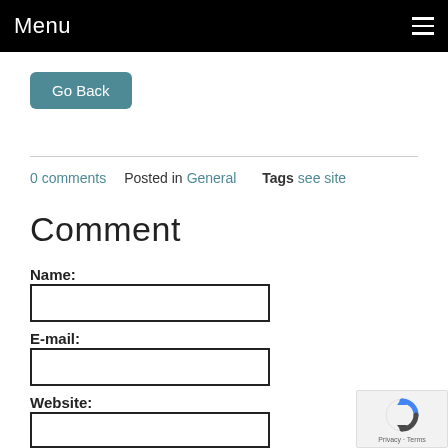Menu
Go Back
0 comments  Posted in General  Tags see site
Comment
Name:
E-mail:
Website: